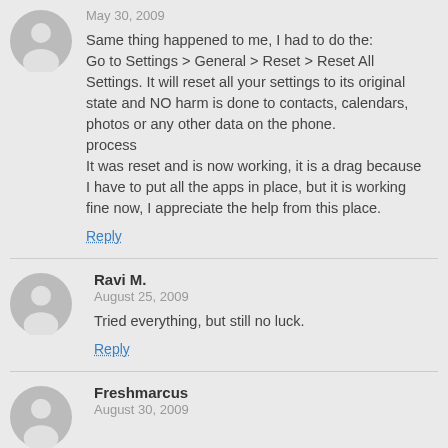May 30, 2009
Same thing happened to me, I had to do the: Go to Settings > General > Reset > Reset All Settings. It will reset all your settings to its original state and NO harm is done to contacts, calendars, photos or any other data on the phone. process It was reset and is now working, it is a drag because I have to put all the apps in place, but it is working fine now, I appreciate the help from this place.
Reply
Ravi M.
August 25, 2009
Tried everything, but still no luck.
Reply
Freshmarcus
August 30, 2009